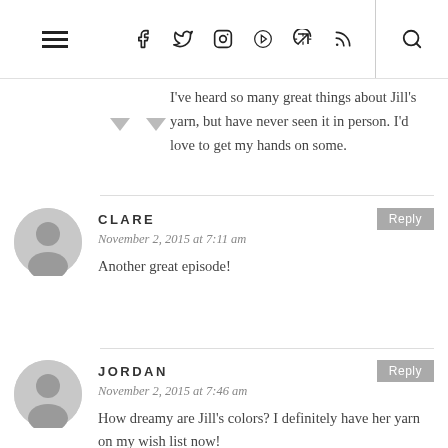≡  f  Twitter  Instagram  Pinterest  RSS  🔍
I've heard so many great things about Jill's yarn, but have never seen it in person. I'd love to get my hands on some.
CLARE
November 2, 2015 at 7:11 am
Another great episode!
JORDAN
November 2, 2015 at 7:46 am
How dreamy are Jill's colors? I definitely have her yarn on my wish list now!